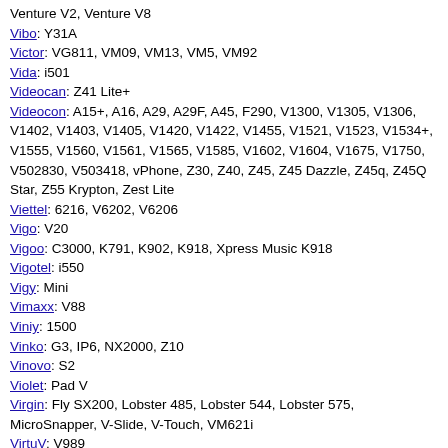Venture V2, Venture V8
Vibo: Y31A
Victor: VG811, VM09, VM13, VM5, VM92
Vida: i501
Videocan: Z41 Lite+
Videocon: A15+, A16, A29, A29F, A45, F290, V1300, V1305, V1306, V1402, V1403, V1405, V1420, V1422, V1455, V1521, V1523, V1534+, V1555, V1560, V1561, V1565, V1585, V1602, V1604, V1675, V1750, V502830, V503418, vPhone, Z30, Z40, Z45, Z45 Dazzle, Z45q, Z45Q Star, Z55 Krypton, Zest Lite
Viettel: 6216, V6202, V6206
Vigo: V20
Vigoo: C3000, K791, K902, K918, Xpress Music K918
Vigotel: i550
Vigy: Mini
Vimaxx: V88
Viniy: 1500
Vinko: G3, IP6, NX2000, Z10
Vinovo: S2
Violet: Pad V
Virgin: Fly SX200, Lobster 485, Lobster 544, Lobster 575, MicroSnapper, V-Slide, V-Touch, VM621i
VirtuV: V989
Vision: H8
Vitel: TSM1, TSM2, TSM3, TSM4, TSM5m, TSM6
Vitell: V212, V222, V720, V907
Vitu: Mars 9
Viva: Q201
Vivax: Fly V550, Fly-V550
Vivi: S8+
Vivo: 1603, 1610, 1610 Y55s, 1716, 1716 V7+, 1718, 1723, 1724, 1808, 1808 Y81, 1812, 1815 Y91, 1820, 1823, 1901, 1915, 1938, 1938 Y30, 2015, S1, S1 1907, S1 PD1913F, V11 Pro 1804, V11i, V15, V15 1819, V21 5G